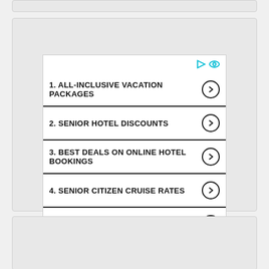1. ALL-INCLUSIVE VACATION PACKAGES
2. SENIOR HOTEL DISCOUNTS
3. BEST DEALS ON ONLINE HOTEL BOOKINGS
4. SENIOR CITIZEN CRUISE RATES
5. SENIORS CRUISE PACKAGES
Popular Pages